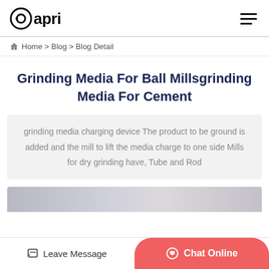Papri
Home > Blog > Blog Detail
Grinding Media For Ball Millsgrinding Media For Cement
grinding media charging device The product to be ground is added and the mill to lift the media charge to one side Mills for dry grinding have, Tube and Rod
[Figure (photo): Partial image visible at bottom of page]
Leave Message | Chat Online